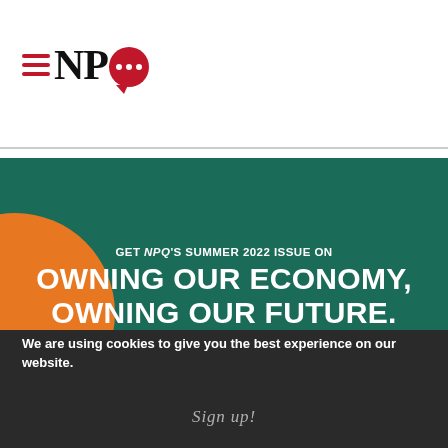[Figure (logo): NPQ logo with hamburger menu icon on left, letters N P in black serif, and a red speech bubble with three white dots representing the Q]
[Figure (infographic): Dark green banner advertisement for NPQ Summer 2022 issue 'Owning Our Economy, Owning Our Future' with orange semicircle decoration on left and italic text 'Receive this exclusive issue by' at bottom]
We are using cookies to give you the best experience on our website.
Sign up!